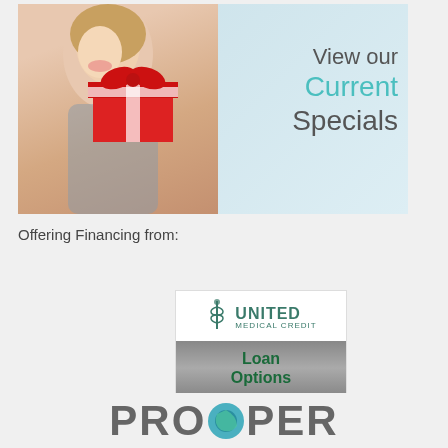[Figure (illustration): Promotional banner showing a woman holding a red gift box with white ribbon, and text 'View our Current Specials' on a light blue background]
Offering Financing from:
[Figure (logo): United Medical Credit logo with caduceus icon, showing 'UNITED MEDICAL CREDIT' header, 'Loan Options' in gray gradient section, and 'CLICK HERE' button in dark green]
[Figure (logo): PROSPER logo in large gray bold letters with a green/teal circle replacing the 'O']